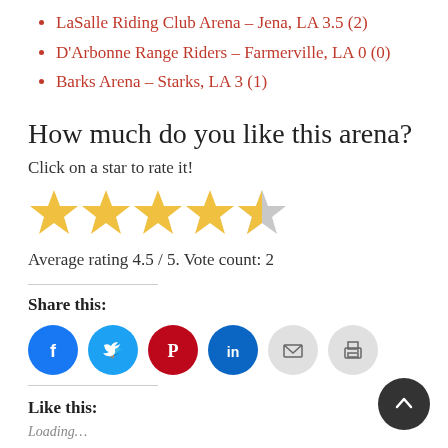LaSalle Riding Club Arena – Jena, LA 3.5 (2)
D'Arbonne Range Riders – Farmerville, LA 0 (0)
Barks Arena – Starks, LA 3 (1)
How much do you like this arena?
Click on a star to rate it!
[Figure (other): 4.5 out of 5 stars rating widget: 4 filled gold stars and 1 half-filled star]
Average rating 4.5 / 5. Vote count: 2
Share this:
[Figure (other): Social share icons: Facebook (blue), Twitter (light blue), Pinterest (red), LinkedIn (dark blue), Email (grey), Print (grey)]
Like this:
Loading...